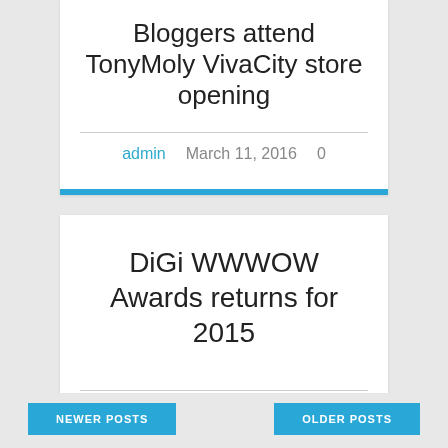Bloggers attend TonyMoly VivaCity store opening
admin   March 11, 2016   0
DiGi WWWOW Awards returns for 2015
September 24, 2015   0
NEWER POSTS
OLDER POSTS